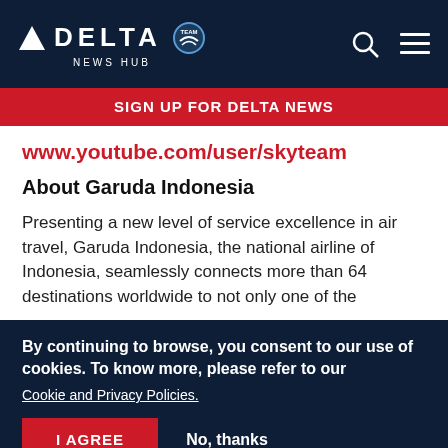DELTA NEWS HUB
SIGN UP FOR DELTA NEWS
www.youtube.com/user/skyteam
About Garuda Indonesia
Presenting a new level of service excellence in air travel, Garuda Indonesia, the national airline of Indonesia, seamlessly connects more than 64 destinations worldwide to not only one of the
By continuing to browse, you consent to our use of cookies. To know more, please refer to our Cookie and Privacy Policies.
I AGREE
No, thanks